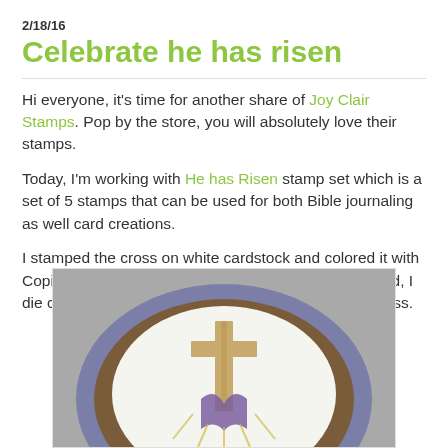2/18/16
Celebrate he has risen
Hi everyone, it's time for another share of Joy Clair Stamps. Pop by the store, you will absolutely love their stamps.
Today, I'm working with He has Risen stamp set which is a set of 5 stamps that can be used for both Bible journaling as well card creations.
I stamped the cross on white cardstock and colored it with Copic Markers.  As I wanted to use this on an oval card, I die cut the image, cutting around the bottom of the cross.
[Figure (photo): Photograph of an oval card featuring a stamped and colored cross image on white cardstock, placed on a layered oval background with purple/blue and brown oval mats on a grey background.]